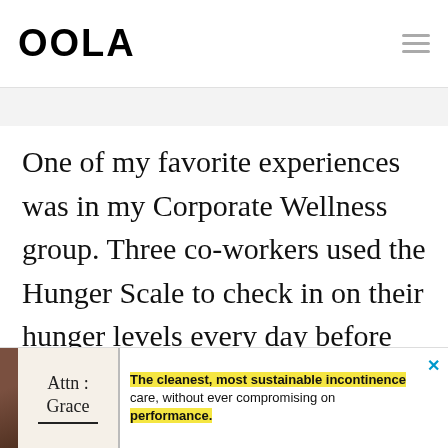OOLA
One of my favorite experiences was in my Corporate Wellness group. Three co-workers used the Hunger Scale to check in on their hunger levels every day before lunch. Then they checked in on their fullness at the end of their meal to ensure they had eaten adequately, without feeling overly full. The
[Figure (infographic): Advertisement banner at bottom of page. Shows 'Attn: Grace' text with product image and ad copy about incontinence care: 'The cleanest, most sustainable incontinence care, without ever compromising on performance.']